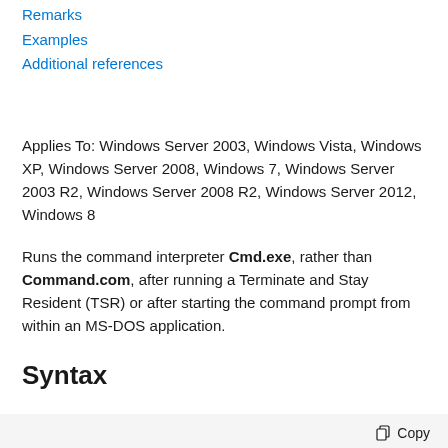Remarks
Examples
Additional references
Applies To: Windows Server 2003, Windows Vista, Windows XP, Windows Server 2008, Windows 7, Windows Server 2003 R2, Windows Server 2008 R2, Windows Server 2012, Windows 8
Runs the command interpreter Cmd.exe, rather than Command.com, after running a Terminate and Stay Resident (TSR) or after starting the command prompt from within an MS-DOS application.
Syntax